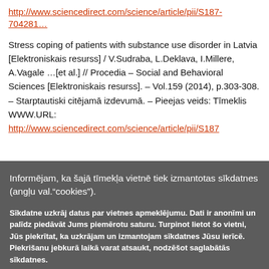http://www.sciencedirect.com/science/article/pii/S187-704281...
Stress coping of patients with substance use disorder in Latvia [Elektroniskais resurss] / V.Sudraba, L.Deklava, I.Millere, A.Vagale ...[et al.] // Procedia – Social and Behavioral Sciences [Elektroniskais resurss]. – Vol.159 (2014), p.303-308. – Starptautiski citējamā izdevumā. – Pieejas veids: Tīmeklis WWW.URL: http://www.sciencedirect.com/science/article/pii/S187
Informējam, ka šajā tīmekļa vietnē tiek izmantotas sīkdatnes (angļu val."cookies").
Sīkdatne uzkrāj datus par vietnes apmeklējumu. Dati ir anonīmi un palīdz piedāvāt Jums piemērotu saturu. Turpinot lietot šo vietni, Jūs piekrītat, ka uzkrājam un izmantojam sīkdatnes Jūsu ierīcē. Piekrišanu jebkurā laikā varat atsaukt, nodzēšot saglabātās sīkdatnes.
Piekrītu
Vairāk informācijas